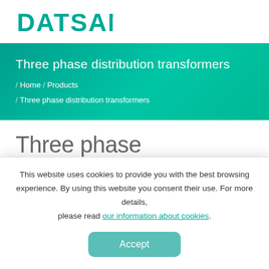DATSAN
Three phase distribution transformers
/ Home / Products / Three phase distribution transformers
Three phase distribution transformers
This website uses cookies to provide you with the best browsing experience. By using this website you consent their use. For more details, please read our information about cookies.
Accept